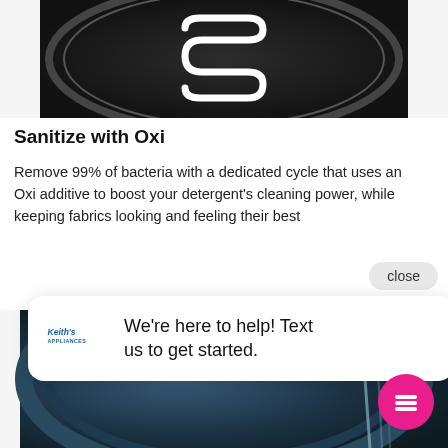[Figure (photo): Close-up of a dark washing machine drum front panel with a stylized icon on it, dark gray/black background]
Sanitize with Oxi
Remove 99% of bacteria with a dedicated cycle that uses an Oxi additive to boost your detergent's cleaning power, while keeping fabrics looking and feeling their best
[Figure (screenshot): Chat popup overlay: Keith's Appliances logo on left, text 'We're here to help! Text us to get started.' with a pink circular chat icon button in the lower right corner]
[Figure (photo): Close-up of washing machine drum interior with blue-tinted lighting and cylindrical drum visible from inside]